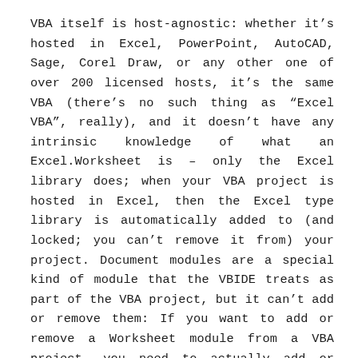VBA itself is host-agnostic: whether it's hosted in Excel, PowerPoint, AutoCAD, Sage, Corel Draw, or any other one of over 200 licensed hosts, it's the same VBA (there's no such thing as “Excel VBA”, really), and it doesn’t have any intrinsic knowledge of what an Excel.Worksheet is – only the Excel library does; when your VBA project is hosted in Excel, then the Excel type library is automatically added to (and locked; you can’t remove it from) your project. Document modules are a special kind of module that the VBIDE treats as part of the VBA project, but it can’t add or remove them: If you want to add or remove a Worksheet module from a VBA project, you need to actually add or remove a worksheet from the host Excel workbook.